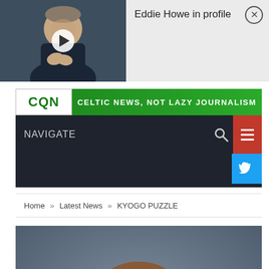[Figure (screenshot): Video thumbnail of a man (Eddie Howe) clapping, with a play button overlay]
Eddie Howe in profile
[Figure (logo): CQN logo with tagline: CELTIC NEWS, NOT LAZY JOURNALISM]
NAVIGATE
[Figure (screenshot): Navigation bar with search icon, red hamburger menu, and blue Twitter button]
Home » Latest News » KYOGO PUZZLE
[Figure (photo): Photo of Kyogo Furuhashi, a football player with brown hair]